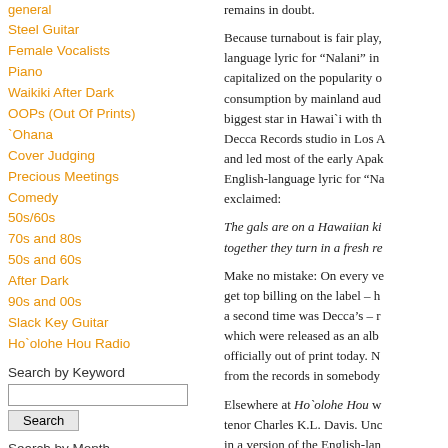general
Steel Guitar
Female Vocalists
Piano
Waikiki After Dark
OOPs (Out Of Prints)
`Ohana
Cover Judging
Precious Meetings
Comedy
50s/60s
70s and 80s
50s and 60s
After Dark
90s and 00s
Slack Key Guitar
Ho`olohe Hou Radio
Search by Keyword
Search by Month
2016
August
January
2015
August
July
remains in doubt.
Because turnabout is fair play, language lyric for “Nalani” in capitalized on the popularity o consumption by mainland aud biggest star in Hawai`i with th Decca Records studio in Los A and led most of the early Apak English-language lyric for “Na exclaimed:
The gals are on a Hawaiian ki together they turn in a fresh re
Make no mistake: On every ve get top billing on the label – h a second time was Decca’s – r which were released as an alb officially out of print today. N from the records in somebody
Elsewhere at Ho`olohe Hou w tenor Charles K.L. Davis. Unc in a version of the English-lan as identified by his tone, seem was firmly rooted in NYC afte advanced recording technolog themselves to stunning releas